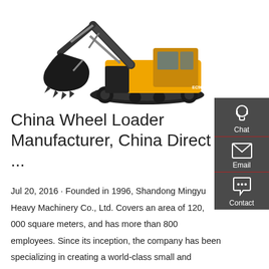[Figure (photo): A large yellow and black Volvo tracked excavator on a white background, showing the boom, arm, bucket, and undercarriage with tracks.]
China Wheel Loader Manufacturer, China Direct ...
[Figure (infographic): Dark grey sidebar with three contact icons: Chat (headset icon), Email (envelope icon), Contact (speech bubble with dots), separated by red lines.]
Jul 20, 2016 · Founded in 1996, Shandong Mingyu Heavy Machinery Co., Ltd. Covers an area of 120, 000 square meters, and has more than 800 employees. Since its inception, the company has been specializing in creating a world-class small and medium loader R&D production base and has become a global leader of small loaders by virtue of